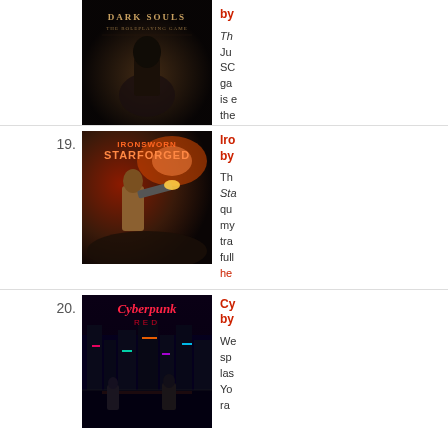[Figure (photo): Dark Souls: The Roleplaying Game book cover – dark atmospheric image of an armored figure]
by [author name cut off]

The [text cut off] Ju[ne?] SC[ore?] ga[me] is e[xpected] the [rest cut off]
19. Ironsworn: Starforged by [author cut off]

The Sta[rforged] qu[est] my[...] tra[...] full[...] here[link]
[Figure (photo): Ironsworn: Starforged book cover – sci-fi/western style art of a space-suited figure firing a weapon]
20. Cyberpunk [RED] by [author cut off]

We sp[ent] las[t] Yo[ur] ra[n]...
[Figure (photo): Cyberpunk RED book cover – neon cyberpunk city street scene with figures in foreground]